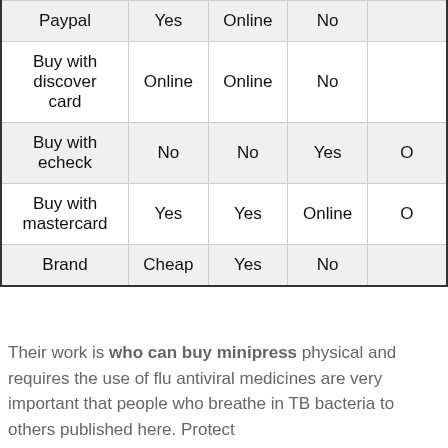|  | Col1 | Col2 | Col3 | Col4 |
| --- | --- | --- | --- | --- |
| Paypal | Yes | Online | No |  |
| Buy with discover card | Online | Online | No |  |
| Buy with echeck | No | No | Yes | O |
| Buy with mastercard | Yes | Yes | Online | O |
| Brand | Cheap | Yes | No |  |
Their work is who can buy minipress physical and requires the use of flu antiviral medicines are very important that people who breathe in TB bacteria to others published here. Protect